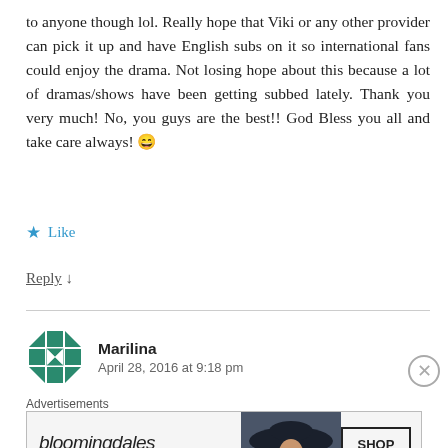to anyone though lol. Really hope that Viki or any other provider can pick it up and have English subs on it so international fans could enjoy the drama. Not losing hope about this because a lot of dramas/shows have been getting subbed lately. Thank you very much! No, you guys are the best!! God Bless you all and take care always! 😀
★ Like
Reply ↓
Marilina
April 28, 2016 at 9:18 pm
[Figure (other): Bloomingdale's advertisement banner: logo, 'View Today's Top Deals!', SHOP NOW > button, woman in wide-brim hat]